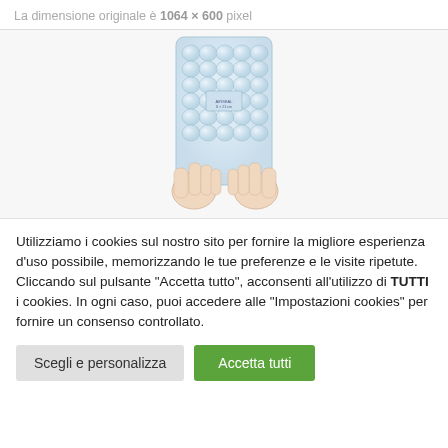La dimensione originale è 1064 × 600 pixel
[Figure (photo): Two hands holding a large inflated air cushion / bubble wrap packaging bag against a white background.]
Utilizziamo i cookies sul nostro sito per fornire la migliore esperienza d'uso possibile, memorizzando le tue preferenze e le visite ripetute. Cliccando sul pulsante "Accetta tutto", acconsenti all'utilizzo di TUTTI i cookies. In ogni caso, puoi accedere alle "Impostazioni cookies" per fornire un consenso controllato.
Scegli e personalizza | Accetta tutti